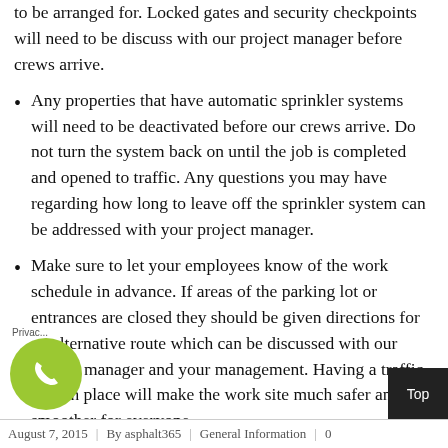to be arranged for. Locked gates and security checkpoints will need to be discuss with our project manager before crews arrive.
Any properties that have automatic sprinkler systems will need to be deactivated before our crews arrive. Do not turn the system back on until the job is completed and opened to traffic. Any questions you may have regarding how long to leave off the sprinkler system can be addressed with your project manager.
Make sure to let your employees know of the work schedule in advance. If areas of the parking lot or entrances are closed they should be given directions for an alternative route which can be discussed with our project manager and your management. Having a traffic plan in place will make the work site much safer and smoother for everyone.
August 7, 2015 | By asphalt365 | General Information | 0